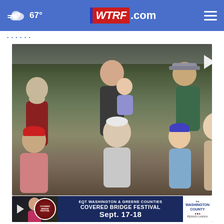67° WTRF.com
[Figure (photo): Crowd of people gathered at an indoor/outdoor venue for the Belco Fair, multiple generations visible including children, adults, and elderly. A play button overlay is shown in the top-left corner.]
Belco Fair celebrates 173 years of tradition
[Figure (photo): Bottom strip thumbnail showing a woman and Covered Bridge Festival advertisement banner reading: EQT WASHINGTON & GREENE COUNTIES COVERED BRIDGE FESTIVAL SEPT. 17-18, with Washington County Pennsylvania logo on the right.]